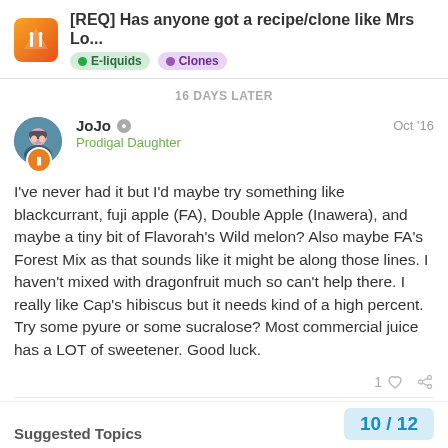[REQ] Has anyone got a recipe/clone like Mrs Lo... | E-liquids | Clones
16 DAYS LATER
JoJo   Prodigal Daughter   Oct '16
I've never had it but I'd maybe try something like blackcurrant, fuji apple (FA), Double Apple (Inawera), and maybe a tiny bit of Flavorah's Wild melon? Also maybe FA's Forest Mix as that sounds like it might be along those lines. I haven't mixed with dragonfruit much so can't help there. I really like Cap's hibiscus but it needs kind of a high percent. Try some pyure or some sucralose? Most commercial juice has a LOT of sweetener. Good luck.
10 / 12